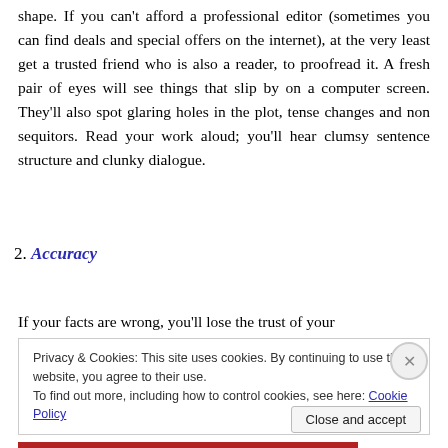shape. If you can't afford a professional editor (sometimes you can find deals and special offers on the internet), at the very least get a trusted friend who is also a reader, to proofread it. A fresh pair of eyes will see things that slip by on a computer screen. They'll also spot glaring holes in the plot, tense changes and non sequitors. Read your work aloud; you'll hear clumsy sentence structure and clunky dialogue.
2. Accuracy
If your facts are wrong, you'll lose the trust of your
Privacy & Cookies: This site uses cookies. By continuing to use this website, you agree to their use.
To find out more, including how to control cookies, see here: Cookie Policy
Close and accept